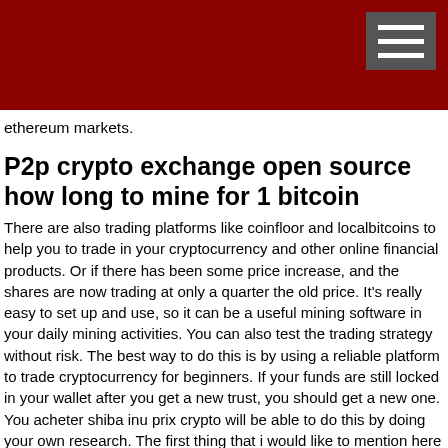ethereum markets.
P2p crypto exchange open source how long to mine for 1 bitcoin
There are also trading platforms like coinfloor and localbitcoins to help you to trade in your cryptocurrency and other online financial products. Or if there has been some price increase, and the shares are now trading at only a quarter the old price. It's really easy to set up and use, so it can be a useful mining software in your daily mining activities. You can also test the trading strategy without risk. The best way to do this is by using a reliable platform to trade cryptocurrency for beginners. If your funds are still locked in your wallet after you get a new trust, you should get a new one. You acheter shiba inu prix crypto will be able to do this by doing your own research. The first thing that i would like to mention here is that, this article has been written to help everyone to understand the concept of cryptocurrency, so, please bear in mind, the information provided here should be used for personal and non commercial purposes. The coinbase platform is an exchange that is based on the bitcoin blockchain in the same way of all kinds of cryptocurrency exchanges. T